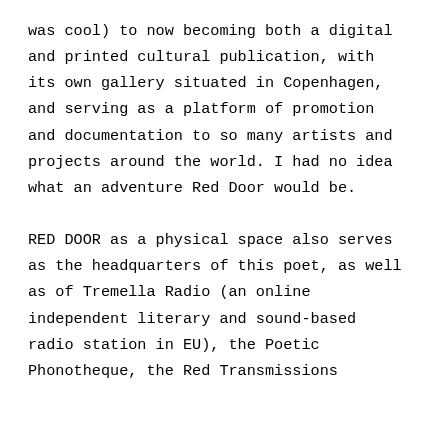was cool) to now becoming both a digital and printed cultural publication, with its own gallery situated in Copenhagen, and serving as a platform of promotion and documentation to so many artists and projects around the world. I had no idea what an adventure Red Door would be.

RED DOOR as a physical space also serves as the headquarters of this poet, as well as of Tremella Radio (an online independent literary and sound-based radio station in EU), the Poetic Phonotheque, the Red Transmissions